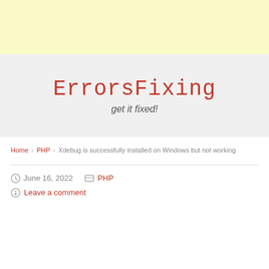[Figure (other): Yellow/cream colored advertisement banner area at top of page]
ErrorsFixing
get it fixed!
Home > PHP > Xdebug is successfully installed on Windows but not working
June 16, 2022  PHP  Leave a comment